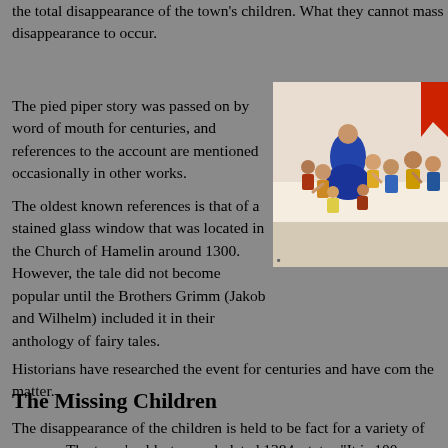the total disappearance of the town's children. What they cannot mass disappearance to occur.
The pied piper story was passed on by word of mouth for centuries, and references to the account are mentioned occasionally in other works.
[Figure (illustration): Colorful illustration showing the Pied Piper leading a crowd of children, dressed in medieval clothing with bright colors including blue, red, and yellow garments.]
The oldest known references is that of a stained glass window that was located in the Church of Hamelin around 1300. However, the tale did not become popular until the Brothers Grimm (Jakob and Wilhelm) included it in their anthology of fairy tales.
Historians have researched the event for centuries and have com the matter.
The Missing Children
The disappearance of the children is held to be fact for a variety of reasons. The town's oldest record, dated 1384, states "It is 100 years since our children left." There is also a long standing law dating back to medieval times that no music is allowed to be played and dancing is prohibited on a certain